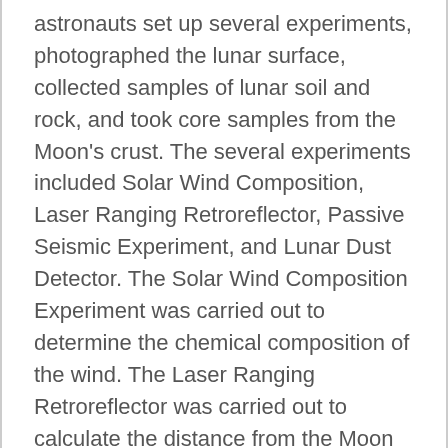astronauts set up several experiments, photographed the lunar surface, collected samples of lunar soil and rock, and took core samples from the Moon's crust. The several experiments included Solar Wind Composition, Laser Ranging Retroreflector, Passive Seismic Experiment, and Lunar Dust Detector. The Solar Wind Composition Experiment was carried out to determine the chemical composition of the wind. The Laser Ranging Retroreflector was carried out to calculate the distance from the Moon to the Earth. The Passive Seismic Experiment studied the propagation of seismic waves through the Moon and provided the most detailed look at the Moon's internal surface. Finally, the Lunar Dust Detector measured the dust layer deposition. These several experiments,